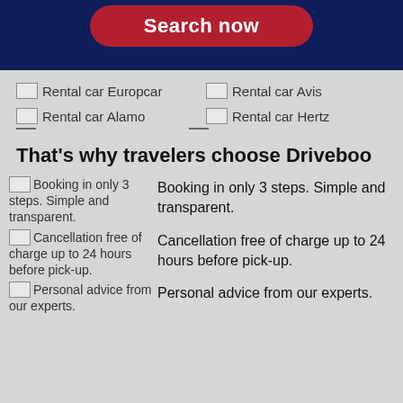[Figure (screenshot): Search now button on dark blue background]
[Figure (logo): Rental car Europcar logo placeholder]
[Figure (logo): Rental car Avis logo placeholder]
[Figure (logo): Rental car Alamo logo placeholder]
[Figure (logo): Rental car Hertz logo placeholder]
That's why travelers choose Driveboo
[Figure (illustration): Booking in only 3 steps. Simple and transparent.]
Booking in only 3 steps. Simple and transparent.
[Figure (illustration): Cancellation free of charge up to 24 hours before pick-up.]
Cancellation free of charge up to 24 hours before pick-up.
[Figure (illustration): Personal advice from our experts.]
Personal advice from our experts.